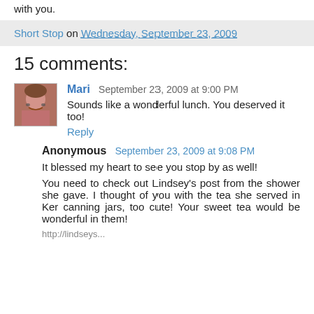with you.
Short Stop on Wednesday, September 23, 2009
15 comments:
Mari  September 23, 2009 at 9:00 PM
Sounds like a wonderful lunch. You deserved it too!
Reply
Anonymous  September 23, 2009 at 9:08 PM
It blessed my heart to see you stop by as well!
You need to check out Lindsey's post from the shower she gave. I thought of you with the tea she served in Ker canning jars, too cute! Your sweet tea would be wonderful in them!